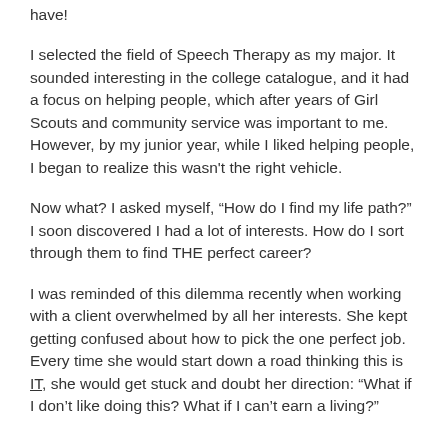have!
I selected the field of Speech Therapy as my major. It sounded interesting in the college catalogue, and it had a focus on helping people, which after years of Girl Scouts and community service was important to me. However, by my junior year, while I liked helping people, I began to realize this wasn't the right vehicle.
Now what? I asked myself, “How do I find my life path?” I soon discovered I had a lot of interests. How do I sort through them to find THE perfect career?
I was reminded of this dilemma recently when working with a client overwhelmed by all her interests. She kept getting confused about how to pick the one perfect job. Every time she would start down a road thinking this is IT, she would get stuck and doubt her direction: “What if I don’t like doing this? What if I can’t earn a living?”